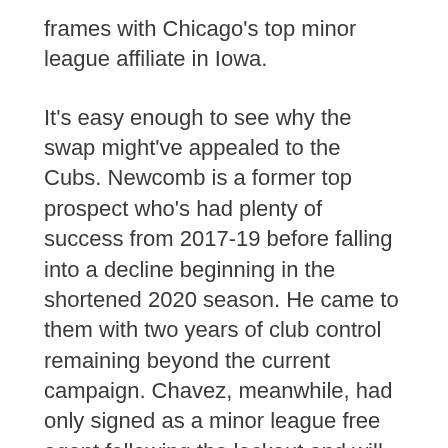frames with Chicago's top minor league affiliate in Iowa.
It's easy enough to see why the swap might've appealed to the Cubs. Newcomb is a former top prospect who's had plenty of success from 2017-19 before falling into a decline beginning in the shortened 2020 season. He came to them with two years of club control remaining beyond the current campaign. Chavez, meanwhile, had only signed as a minor league free agent following the lockout and will become a free agent at season's end.
Things simply haven't panned out with Newcomb to this point, although assuming he indeed accepts his outright assignment, he'll have the opportunity to get back on track in Triple-A over the remainder of the season. If he's added back to the 40-man roster before season's end, the Cubs will still be able to control his 2023-24 rights via